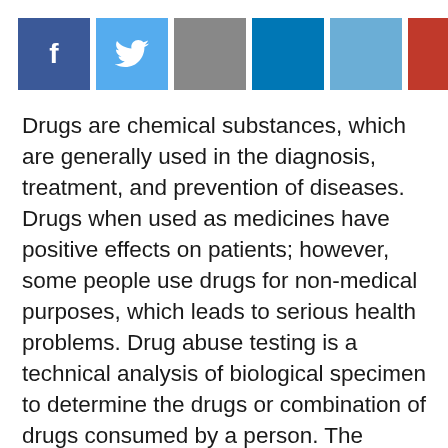[Figure (other): Social media sharing buttons: Facebook, Twitter, gray share, LinkedIn, light blue, red, dark blue, orange, green]
Drugs are chemical substances, which are generally used in the diagnosis, treatment, and prevention of diseases. Drugs when used as medicines have positive effects on patients; however, some people use drugs for non-medical purposes, which leads to serious health problems. Drug abuse testing is a technical analysis of biological specimen to determine the drugs or combination of drugs consumed by a person. The biological specimens used for the test are saliva, urine, blood, hair, breath, and sweat. The two main technologies used to test drug abuse are immunoassay and chromatography. Drug abuse testing is widely used